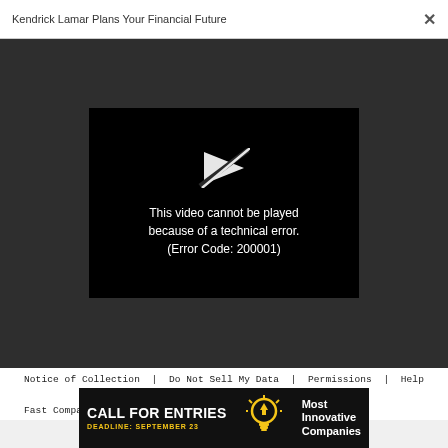Kendrick Lamar Plans Your Financial Future
[Figure (screenshot): Video player showing error: 'This video cannot be played because of a technical error. (Error Code: 200001)' on black background with broken play icon.]
Notice of Collection | Do Not Sell My Data | Permissions | Help Center | About Us | Site Map | Fast Company & Inc © 2022 Mansueto Ventures, LLC
[Figure (infographic): Advertisement banner: 'CALL FOR ENTRIES DEADLINE: SEPTEMBER 23' with lightbulb icon and 'Most Innovative Companies' text on black background.]